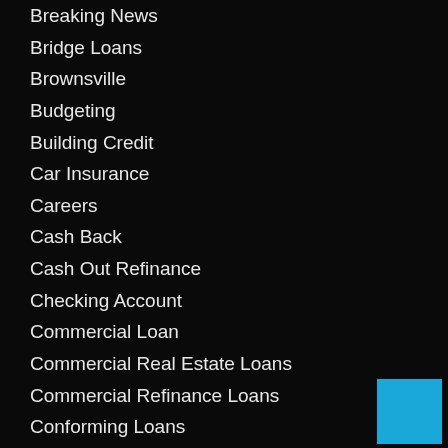Breaking News
Bridge Loans
Brownsville
Budgeting
Building Credit
Car Insurance
Careers
Cash Back
Cash Out Refinance
Checking Account
Commercial Loan
Commercial Real Estate Loans
Commercial Refinance Loans
Conforming Loans
Construction Home Loans